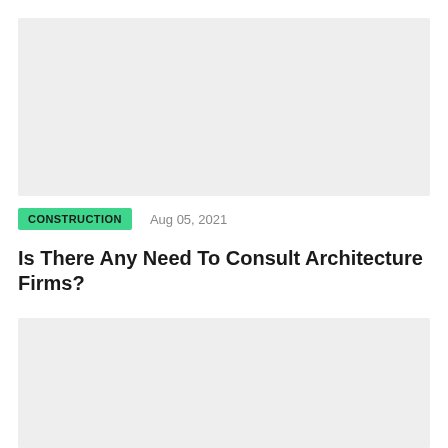[Figure (photo): Top placeholder image area with light gray background]
CONSTRUCTION   Aug 05, 2021
Is There Any Need To Consult Architecture Firms?
[Figure (photo): Bottom placeholder image area with light gray background]